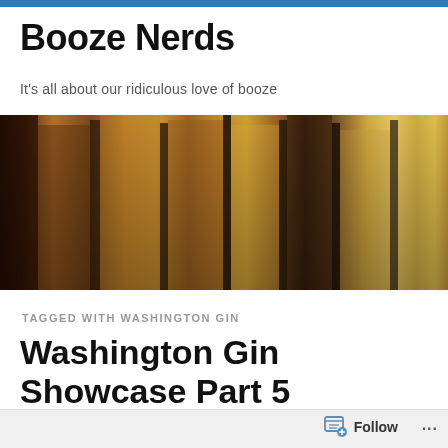Booze Nerds
It's all about our ridiculous love of booze
[Figure (photo): Banner photo showing multiple liquor bottles on a shelf with warm amber and brown tones]
TAGGED WITH WASHINGTON GIN
Washington Gin Showcase Part 5
It's time once for another showcase of the most...